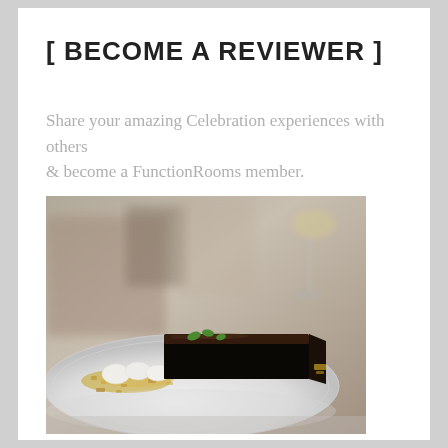[ BECOME A REVIEWER ]
Share your amazing Celebration experiences with others & become a FunctionRooms member.
[Figure (photo): A plated chocolate dessert — a rectangular dark chocolate terrine garnished with mint leaves, cream puffs, and crushed pistachios on a white plate, with a wine glass blurred in the background. Restaurant fine dining setting.]